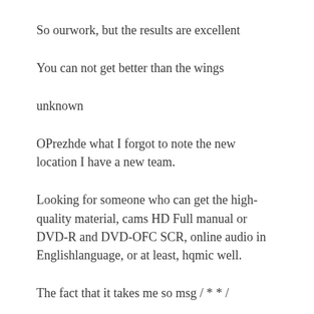So ourwork, but the results are excellent
You can not get better than the wings
unknown
OPrezhde what I forgot to note the new location I have a new team.
Looking for someone who can get the high-quality material, cams HD Full manual or DVD-R and DVD-OFC SCR, online audio in Englishlanguage, or at least, hqmic well.
The fact that it takes me so msg / * * /
A b b i e n e s o l e t a n d e